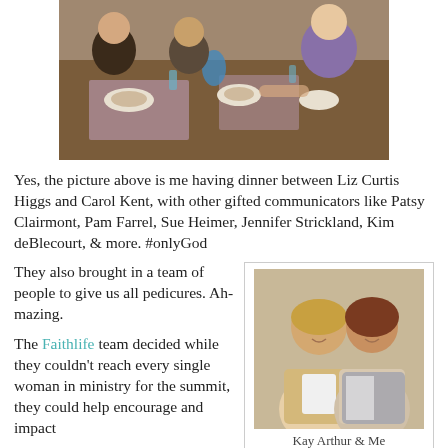[Figure (photo): Group of women sitting around a dinner table with food and drinks]
Yes, the picture above is me having dinner between Liz Curtis Higgs and Carol Kent, with other gifted communicators like Patsy Clairmont, Pam Farrel, Sue Heimer, Jennifer Strickland, Kim deBlecourt, & more. #onlyGod
They also brought in a team of people to give us all pedicures. Ah-mazing.
[Figure (photo): Two women posing together smiling, labeled Kay Arthur & Me]
Kay Arthur & Me
The Faithlife team decided while they couldn't reach every single woman in ministry for the summit, they could help encourage and impact